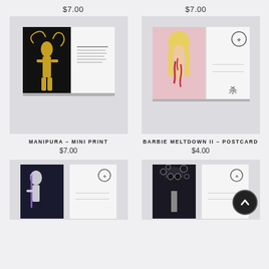$7.00
$7.00
[Figure (photo): Manipura mini print product photo showing open booklet with golden figure on black background on left page and text on right page]
MANIPURA – MINI PRINT
$7.00
[Figure (photo): Barbie Meltdown II postcard product photo showing pink background image of Barbie figure with melting flesh beside a white postcard]
BARBIE MELTDOWN II – POSTCARD
$4.00
[Figure (photo): Bottom left product photo showing dark postcard with skeleton/alien laser figure and postcard reverse side]
[Figure (photo): Bottom right product photo showing dark postcard with Darth Vader skeleton portrait and postcard reverse side, with back-to-top button overlay]